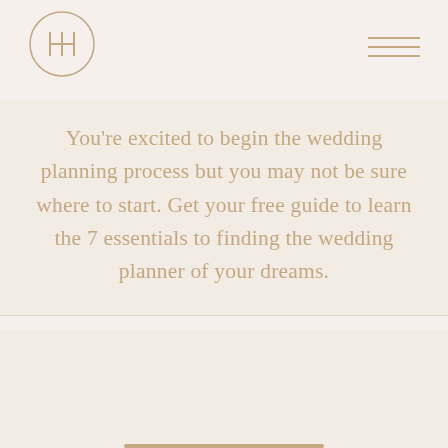[Logo: H monogram in circle] [Hamburger menu]
You're excited to begin the wedding planning process but you may not be sure where to start. Get your free guide to learn the 7 essentials to finding the wedding planner of your dreams.